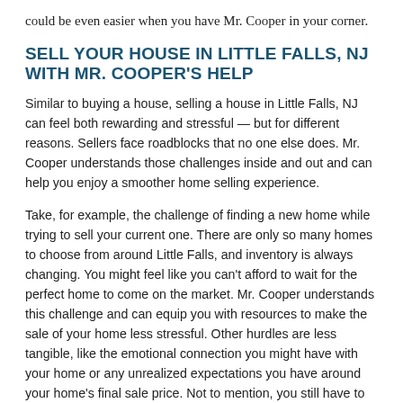could be even easier when you have Mr. Cooper in your corner.
SELL YOUR HOUSE IN LITTLE FALLS, NJ WITH MR. COOPER'S HELP
Similar to buying a house, selling a house in Little Falls, NJ can feel both rewarding and stressful — but for different reasons. Sellers face roadblocks that no one else does. Mr. Cooper understands those challenges inside and out and can help you enjoy a smoother home selling experience.
Take, for example, the challenge of finding a new home while trying to sell your current one. There are only so many homes to choose from around Little Falls, and inventory is always changing. You might feel like you can't afford to wait for the perfect home to come on the market. Mr. Cooper understands this challenge and can equip you with resources to make the sale of your home less stressful. Other hurdles are less tangible, like the emotional connection you might have with your home or any unrealized expectations you have around your home's final sale price. Not to mention, you still have to plan your move!
At Mr. Cooper, our team of professionals can help you...